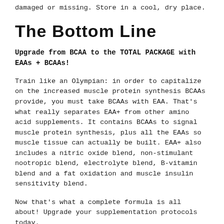damaged or missing. Store in a cool, dry place.
The Bottom Line
Upgrade from BCAA to the TOTAL PACKAGE with EAAs + BCAAs!
Train like an Olympian: in order to capitalize on the increased muscle protein synthesis BCAAs provide, you must take BCAAs with EAA. That's what really separates EAA+ from other amino acid supplements. It contains BCAAs to signal muscle protein synthesis, plus all the EAAs so muscle tissue can actually be built. EAA+ also includes a nitric oxide blend, non-stimulant nootropic blend, electrolyte blend, B-vitamin blend and a fat oxidation and muscle insulin sensitivity blend.
Now that's what a complete formula is all about! Upgrade your supplementation protocols today.